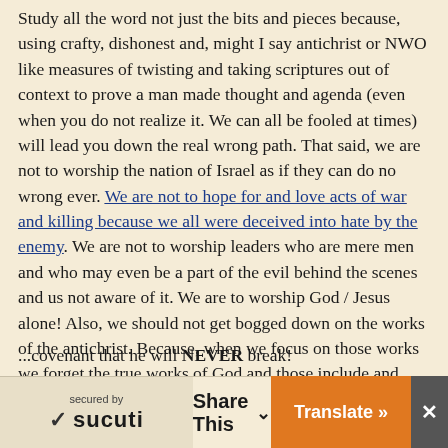Study all the word not just the bits and pieces because, using crafty, dishonest and, might I say antichrist or NWO like measures of twisting and taking scriptures out of context to prove a man made thought and agenda (even when you do not realize it. We can all be fooled at times) will lead you down the real wrong path. That said, we are not to worship the nation of Israel as if they can do no wrong ever. We are not to hope for and love acts of war and killing because we all were deceived into hate by the enemy. We are not to worship leaders who are mere men and who may even be a part of the evil behind the scenes and us not aware of it. We are to worship God / Jesus alone! Also, we should not get bogged down on the works of the antichrist. Because, when we focus on those works we forget the true works of God and those include and have always included the Jews and the Jews in the land ...covenant that he will NEVER break!
secured by SUCURI | Share This | Translate »